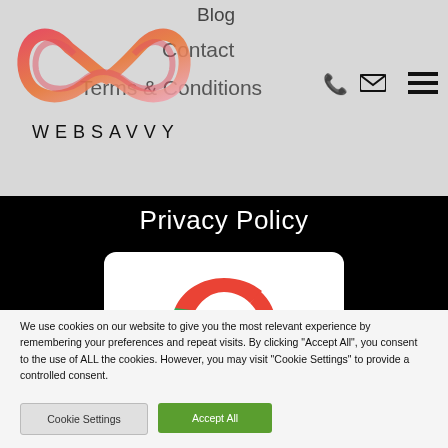Blog  Contact  Terms & Conditions
[Figure (logo): WebSavvy logo — abstract infinity-like swirl shape in red/orange/pink gradient with text WEBSAVVY below]
Privacy Policy
[Figure (logo): Google 'G' logo on white rounded card against black background]
We use cookies on our website to give you the most relevant experience by remembering your preferences and repeat visits. By clicking "Accept All", you consent to the use of ALL the cookies. However, you may visit "Cookie Settings" to provide a controlled consent.
Cookie Settings
Accept All